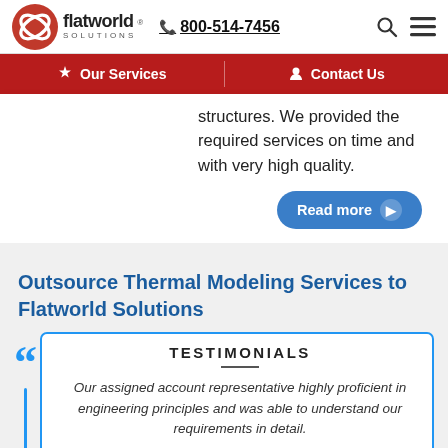[Figure (logo): Flatworld Solutions logo with red infinity symbol and company name]
800-514-7456
Our Services | Contact Us
structures. We provided the required services on time and with very high quality.
Read more
Outsource Thermal Modeling Services to Flatworld Solutions
TESTIMONIALS
Our assigned account representative highly proficient in engineering principles and was able to understand our requirements in detail.